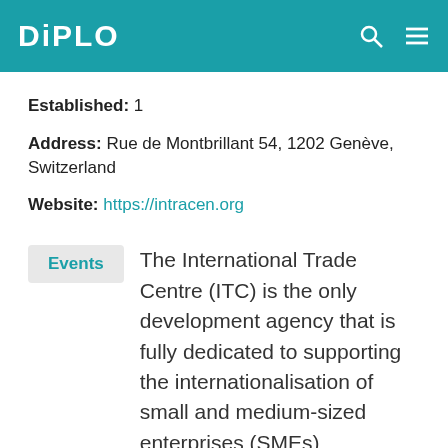DiPLO
Established: 1
Address: Rue de Montbrillant 54, 1202 Genève, Switzerland
Website: https://intracen.org
Events
The International Trade Centre (ITC) is the only development agency that is fully dedicated to supporting the internationalisation of small and medium-sized enterprises (SMEs)